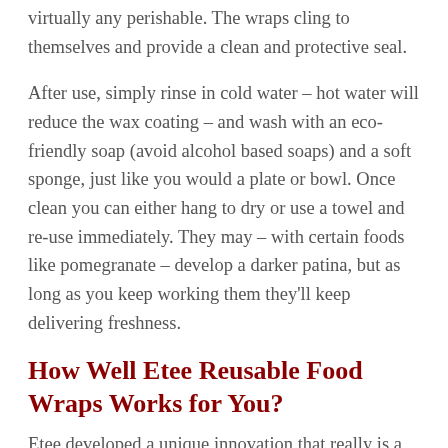virtually any perishable. The wraps cling to themselves and provide a clean and protective seal.
After use, simply rinse in cold water – hot water will reduce the wax coating – and wash with an eco-friendly soap (avoid alcohol based soaps) and a soft sponge, just like you would a plate or bowl. Once clean you can either hang to dry or use a towel and re-use immediately. They may – with certain foods like pomegranate – develop a darker patina, but as long as you keep working them they'll keep delivering freshness.
How Well Etee Reusable Food Wraps Works for You?
Etee developed a unique innovation that really is a better way to preserve your food. This convenient, all-natural, reusable and biodegradable solution is better for your health, your food, and your earth! using its ingredients to discover how organic cotton and hemp, infused with organic beeswax, tree resins, and natural